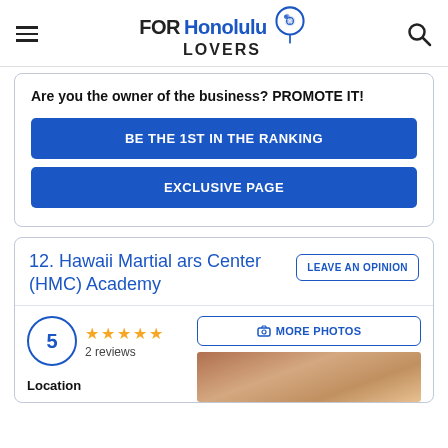FOR Honolulu LOVERS
Are you the owner of the business? PROMOTE IT!
BE THE 1ST IN THE RANKING
EXCLUSIVE PAGE
12. Hawaii Martial ars Center (HMC) Academy
LEAVE AN OPINION
5 ★★★★★ 2 reviews
MORE PHOTOS
[Figure (photo): Photo thumbnail of martial arts facility]
Location